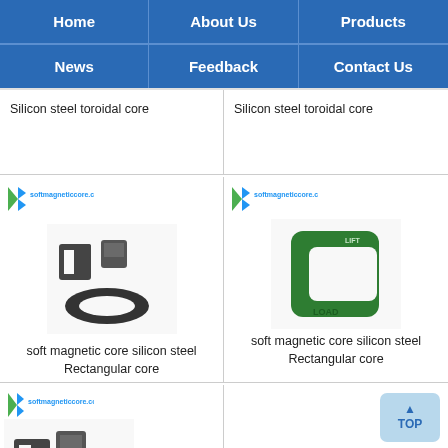Home | About Us | Products | News | Feedback | Contact Us
Silicon steel toroidal core
Silicon steel toroidal core
[Figure (photo): Soft magnetic core silicon steel rectangular core parts - black rectangular and block-shaped silicon steel cores with company logo]
soft magnetic core silicon steel Rectangular core
[Figure (photo): Soft magnetic core silicon steel rectangular core - green C-shaped load frame with company logo]
soft magnetic core silicon steel Rectangular core
[Figure (photo): Soft magnetic core silicon steel rectangular core - partial view of black silicon steel cores with company logo]